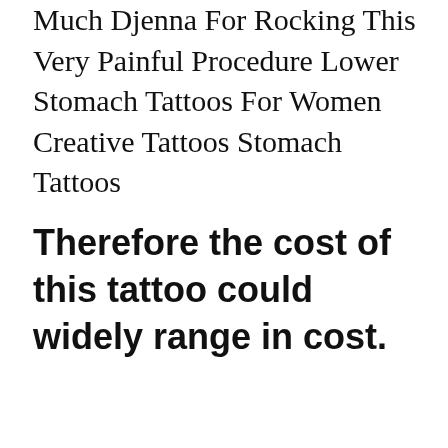Much Djenna For Rocking This Very Painful Procedure Lower Stomach Tattoos For Women Creative Tattoos Stomach Tattoos
Therefore the cost of this tattoo could widely range in cost.